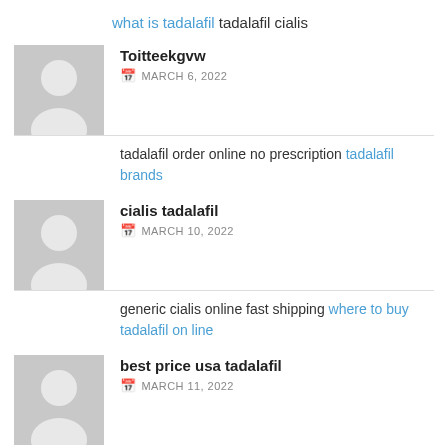what is tadalafil tadalafil cialis
Toitteekgvw
MARCH 6, 2022
tadalafil order online no prescription tadalafil brands
cialis tadalafil
MARCH 10, 2022
generic cialis online fast shipping where to buy tadalafil on line
best price usa tadalafil
MARCH 11, 2022